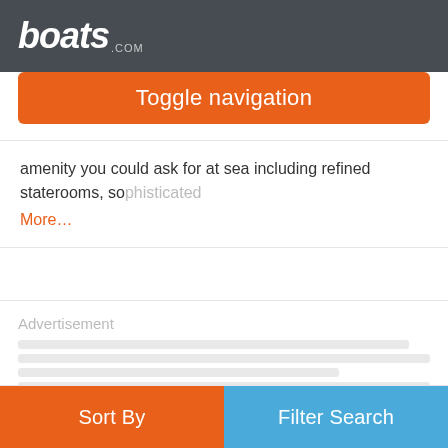boats.com
Toggle navigation
amenity you could ask for at sea including refined staterooms, sophisticated
More…
Advertisement
Sort By | Filter Search